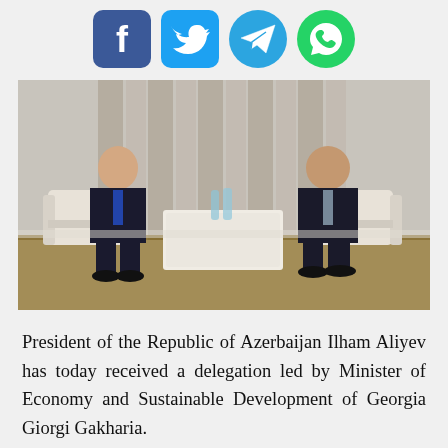[Figure (other): Social media sharing icons: Facebook (blue rounded square), Twitter (blue rounded square), Telegram (blue circle), WhatsApp (green circle)]
[Figure (photo): Two men in dark suits seated in white armchairs facing each other across a white coffee table with water bottles, in a formal meeting room with curtains in the background. The man on the left is younger; the man on the right is older.]
President of the Republic of Azerbaijan Ilham Aliyev has today received a delegation led by Minister of Economy and Sustainable Development of Georgia Giorgi Gakharia.
The head of state hailed the successful